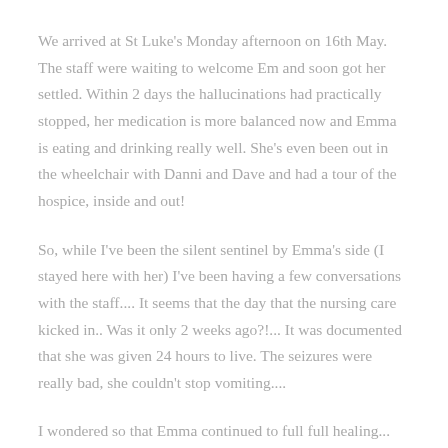We arrived at St Luke's Monday afternoon on 16th May. The staff were waiting to welcome Em and soon got her settled. Within 2 days the hallucinations had practically stopped, her medication is more balanced now and Emma is eating and drinking really well. She's even been out in the wheelchair with Danni and Dave and had a tour of the hospice, inside and out!
So, while I've been the silent sentinel by Emma's side (I stayed here with her) I've been having a few conversations with the staff.... It seems that the day that the nursing care kicked in.. Was it only 2 weeks ago?!... It was documented that she was given 24 hours to live. The seizures were really bad, she couldn't stop vomiting....
I wondered so that Emma continued to full full healing...